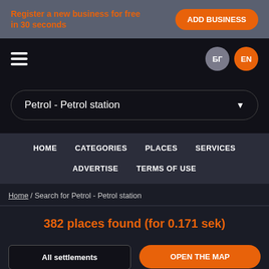Register a new business for free in 30 seconds
ADD BUSINESS
[Figure (other): Hamburger menu icon (three horizontal lines)]
БГ
EN
Petrol - Petrol station
HOME
CATEGORIES
PLACES
SERVICES
ADVERTISE
TERMS OF USE
Home / Search for Petrol - Petrol station
382 places found (for 0.171 sek)
All settlements
OPEN THE MAP